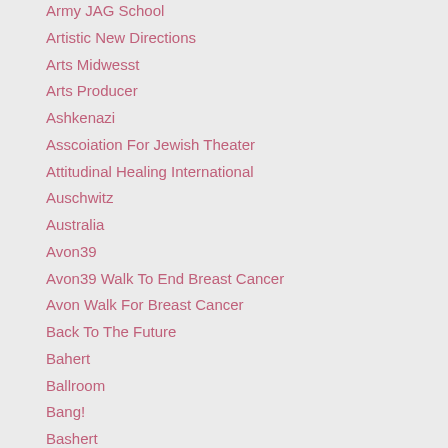Army JAG School
Artistic New Directions
Arts Midwesst
Arts Producer
Ashkenazi
Asscoiation For Jewish Theater
Attitudinal Healing International
Auschwitz
Australia
Avon39
Avon39 Walk To End Breast Cancer
Avon Walk For Breast Cancer
Back To The Future
Bahert
Ballroom
Bang!
Bashert
Bat Mitzvah
Bat Mizvah